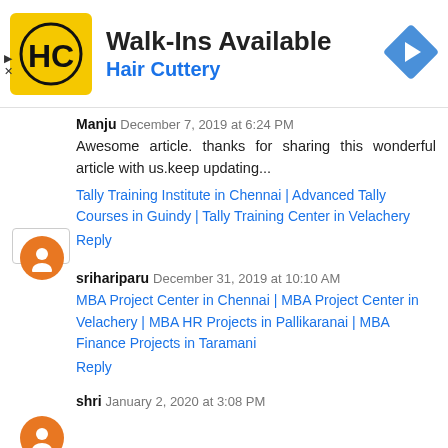[Figure (logo): Hair Cuttery advertisement banner with HC logo, 'Walk-Ins Available' heading, 'Hair Cuttery' subtitle, and navigation arrow icon]
Manju December 7, 2019 at 6:24 PM
Awesome article. thanks for sharing this wonderful article with us.keep updating...
Tally Training Institute in Chennai | Advanced Tally Courses in Guindy | Tally Training Center in Velachery
Reply
srihariparu December 31, 2019 at 10:10 AM
MBA Project Center in Chennai | MBA Project Center in Velachery | MBA HR Projects in Pallikaranai | MBA Finance Projects in Taramani
Reply
shri January 2, 2020 at 3:08 PM